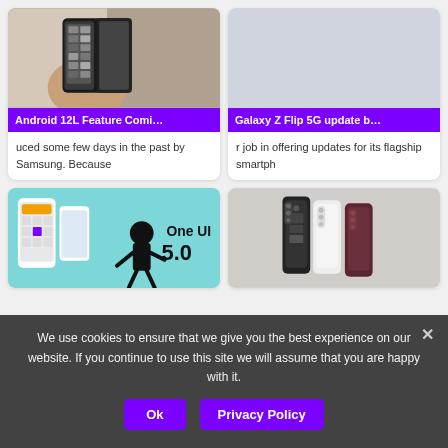[Figure (photo): Photo of a person holding a Samsung foldable phone displaying a grid of content]
Android 12L Feature Comi…
uced some few days in the past by Samsung. Because
[Figure (photo): Light gray placeholder image for Galaxy Z Flip 5G article]
Galaxy Z Flip 5G update b…
r job in offering updates for its flagship smartph
[Figure (photo): One UI 5.0 promotional image on cyan background with cartoon character and phones]
[Figure (photo): Three Samsung Galaxy S22 Ultra phones in black, white and burgundy]
We use cookies to ensure that we give you the best experience on our website. If you continue to use this site we will assume that you are happy with it.
Ok
Privacy Policy